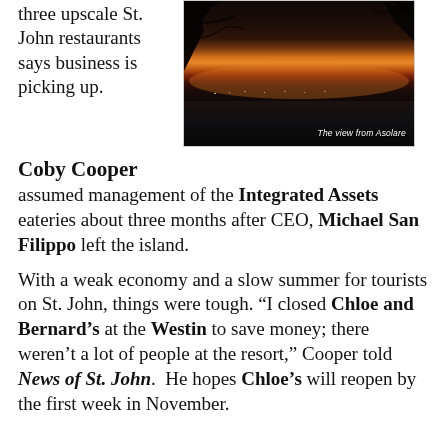three upscale St. John restaurants says business is picking up.
[Figure (photo): Sunset view from Asolare restaurant, St. John, with orange and red sky over water and dark tree silhouettes in foreground. Caption reads: The view from Asolare]
The view from Asolare
Coby Cooper assumed management of the Integrated Assets eateries about three months after CEO, Michael San Filippo left the island.
With a weak economy and a slow summer for tourists on St. John, things were tough. “I closed Chloe and Bernard’s at the Westin to save money; there weren’t a lot of people at the resort,” Cooper told News of St. John.  He hopes Chloe’s will reopen by the first week in November.